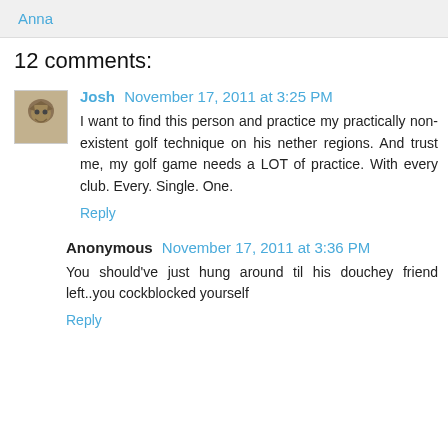Anna
12 comments:
Josh November 17, 2011 at 3:25 PM
I want to find this person and practice my practically non-existent golf technique on his nether regions. And trust me, my golf game needs a LOT of practice. With every club. Every. Single. One.
Reply
Anonymous November 17, 2011 at 3:36 PM
You should've just hung around til his douchey friend left..you cockblocked yourself
Reply